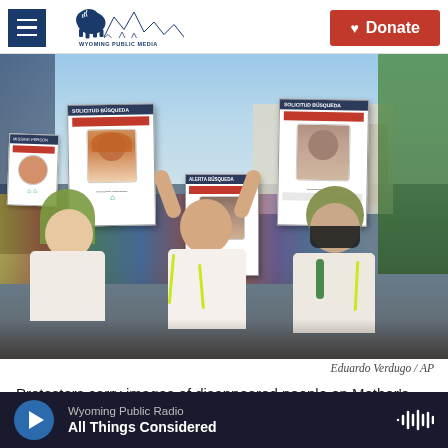Wyoming Public Media — Donate
[Figure (photo): Protesters in a crowd holding up missing persons flyers/signs with photos of disappeared individuals during a Mother's Day march in Mexico.]
Eduardo Verdugo / AP
Protesters carry images of disappeared people on Mother's Day during an annual march by the mothers of missing people to demand the Mexican
Wyoming Public Radio — All Things Considered